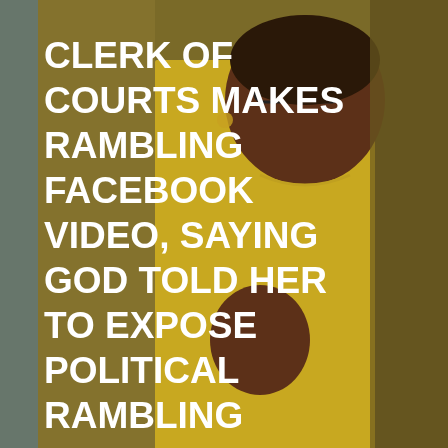[Figure (screenshot): News screenshot composite: top half shows a woman in a yellow top speaking/gesturing in a Facebook video with overlaid white bold text headline about Clerk of Courts. Bottom portion shows a TV news chyron with name 'BRENDA FORMAN' and title 'BROWARD CLERK OF COURTS'. Below that is a date label 'JULY 17, 2020' and a partial second story headline 'BROWARD SHERIFF' over a photo of a person's head.]
CLERK OF COURTS MAKES RAMBLING FACEBOOK VIDEO, SAYING GOD TOLD HER TO EXPOSE POLITICAL RAMBLING
BRENDA FORMAN
BROWARD CLERK OF COURTS
JULY 17, 2020
BROWARD SHERIFF